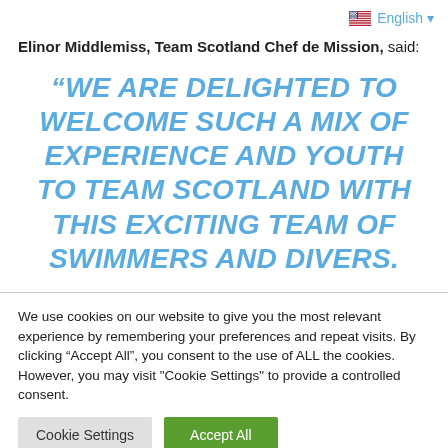English ▼
Elinor Middlemiss, Team Scotland Chef de Mission, said:
“WE ARE DELIGHTED TO WELCOME SUCH A MIX OF EXPERIENCE AND YOUTH TO TEAM SCOTLAND WITH THIS EXCITING TEAM OF SWIMMERS AND DIVERS.
We use cookies on our website to give you the most relevant experience by remembering your preferences and repeat visits. By clicking “Accept All”, you consent to the use of ALL the cookies. However, you may visit "Cookie Settings" to provide a controlled consent.